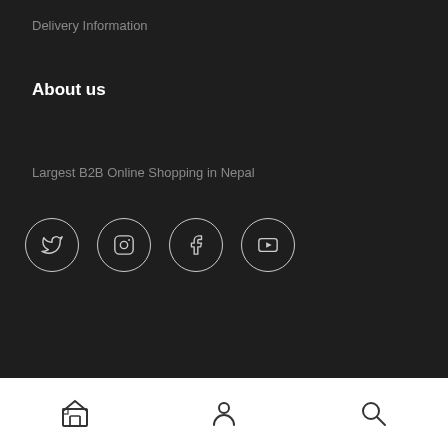Delivery Information
About us
Largest B2B Online Shopping in Nepal
[Figure (infographic): Four circular social media icons: Twitter, Instagram, Facebook, YouTube]
© Bigpasal.com 2022 – All Right Reserved
[Figure (infographic): Payment method logos: Mastercard, Apple Pay, Visa, Amex, PayPal, Clearpay]
[Figure (infographic): Bottom navigation bar with store icon, person/account icon, and search icon]